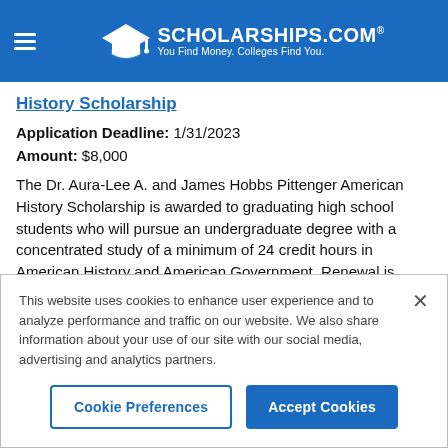SCHOLARSHIPS.COM® — You Find Money. Colleges Find You.
History Scholarship
Application Deadline: 1/31/2023
Amount: $8,000
The Dr. Aura-Lee A. and James Hobbs Pittenger American History Scholarship is awarded to graduating high school students who will pursue an undergraduate degree with a concentrated study of a minimum of 24 credit hours in American History and American Government. Renewal is conditional upon maintenance of a GPA of 3.25. This
This website uses cookies to enhance user experience and to analyze performance and traffic on our website. We also share information about your use of our site with our social media, advertising and analytics partners.